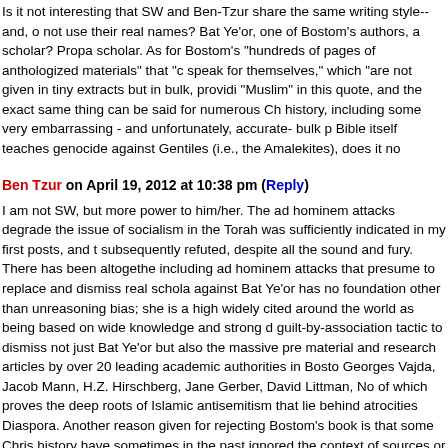Is it not interesting that SW and Ben-Tzur share the same writing style--and, o not use their real names? Bat Ye'or, one of Bostom's authors, a scholar? Propa scholar. As for Bostom's "hundreds of pages of anthologized materials" that "c speak for themselves," which "are not given in tiny extracts but in bulk, providi "Muslim" in this quote, and the exact same thing can be said for numerous Ch history, including some very embarrassing - and unfortunately, accurate- bulk p Bible itself teaches genocide against Gentiles (i.e., the Amalekites), does it no
Ben Tzur on April 19, 2012 at 10:38 pm (Reply)
I am not SW, but more power to him/her. The ad hominem attacks degrade the issue of socialism in the Torah was sufficiently indicated in my first posts, and t subsequently refuted, despite all the sound and fury. There has been altogethe including ad hominem attacks that presume to replace and dismiss real schola against Bat Ye'or has no foundation other than unreasoning bias; she is a high widely cited around the world as being based on wide knowledge and strong d guilt-by-association tactic to dismiss not just Bat Ye'or but also the massive pre material and research articles by over 20 leading academic authorities in Bosto Georges Vajda, Jacob Mann, H.Z. Hirschberg, Jane Gerber, David Littman, No of which proves the deep roots of Islamic antisemitism that lie behind atrocities Diaspora. Another reason given for rejecting Bostom's book is that some Chris history have sometimes in the past ignored the context of sources or have bee their citation of Talmudic texts. See Gil Student's "The Real Truth about the Ta The objection is in any case irrelevant, unreasonable, and even silly. Whateve treatments of Jewish matters, one cannot generalize this to all Christian schola